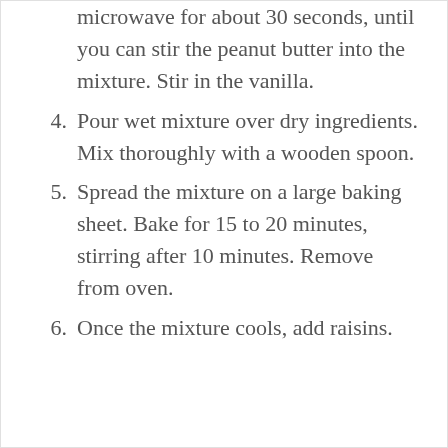microwave for about 30 seconds, until you can stir the peanut butter into the mixture. Stir in the vanilla.
4. Pour wet mixture over dry ingredients. Mix thoroughly with a wooden spoon.
5. Spread the mixture on a large baking sheet. Bake for 15 to 20 minutes, stirring after 10 minutes. Remove from oven.
6. Once the mixture cools, add raisins.